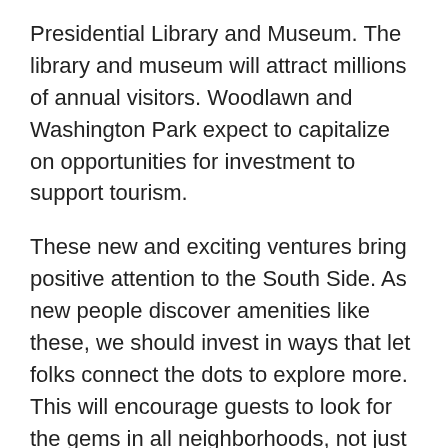Presidential Library and Museum. The library and museum will attract millions of annual visitors. Woodlawn and Washington Park expect to capitalize on opportunities for investment to support tourism.
These new and exciting ventures bring positive attention to the South Side. As new people discover amenities like these, we should invest in ways that let folks connect the dots to explore more. This will encourage guests to look for the gems in all neighborhoods, not just the ones featured on TripAdvisor.
Growing up in Chicago, my mom and grandma took us everywhere on public transportation. We traveled to Lincoln Park to enjoy the open space and lakefront festivals. We learned to navigate through the suburbs to see the animals at Brookfield Zoo. I fondly